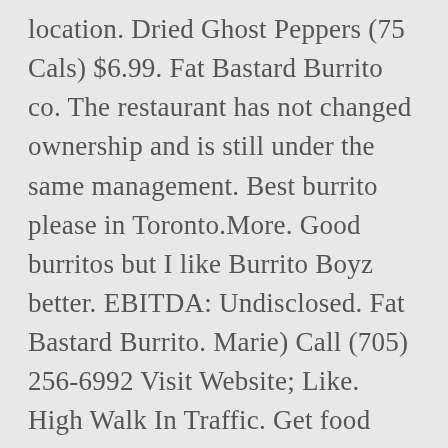location. Dried Ghost Peppers (75 Cals) $6.99. Fat Bastard Burrito co. The restaurant has not changed ownership and is still under the same management. Best burrito please in Toronto.More. Good burritos but I like Burrito Boyz better. EBITDA: Undisclosed. Fat Bastard Burrito. Marie) Call (705) 256-6992 Visit Website; Like. High Walk In Traffic. Get food delivered. There are better burrito joints to choose from. I work hard for my money and won't be spending it at this location or suggesting anyone go to this location.More, This small take out sit in Mexican food restaurant specializes in Burritos. Area Surrounded By Full Of Commercial And Residential Activities. The toppings were at no